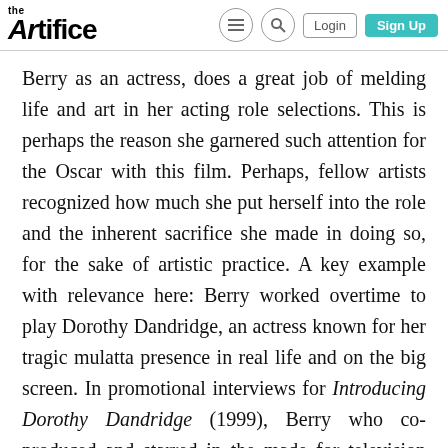the Artifice | Login | Sign Up
Berry as an actress, does a great job of melding life and art in her acting role selections. This is perhaps the reason she garnered such attention for the Oscar with this film. Perhaps, fellow artists recognized how much she put herself into the role and the inherent sacrifice she made in doing so, for the sake of artistic practice. A key example with relevance here: Berry worked overtime to play Dorothy Dandridge, an actress known for her tragic mulatta presence in real life and on the big screen. In promotional interviews for Introducing Dorothy Dandridge (1999), Berry who co-produced and starred in the made for television film, liked to draw from Dandridge